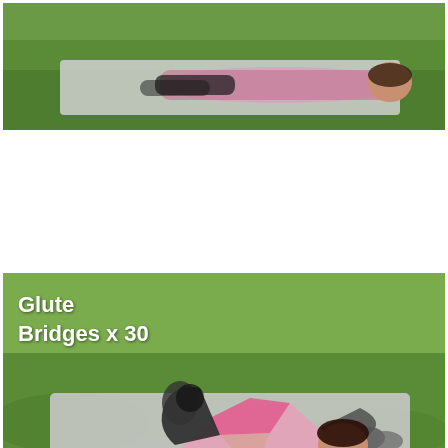[Figure (photo): Top strip photo of a woman lying on an exercise mat on grass, legs extended, performing a glute bridge exercise (starting position).]
[Figure (photo): Main photo of a woman in pink top and black leggings performing a glute bridge exercise on a mat on grass, hips raised, outdoors.]
Glute Bridges x 30
[Figure (photo): Bottom photo of a woman in workout clothes performing a 2 point plank hold outdoors on grass, one arm and opposite leg extended.]
2 Point Plank Hold (10 Sec) x 6
🍪 This website uses cookies to provide you with a better experience. All info collected is shared with Google.
LEARN MORE   OK